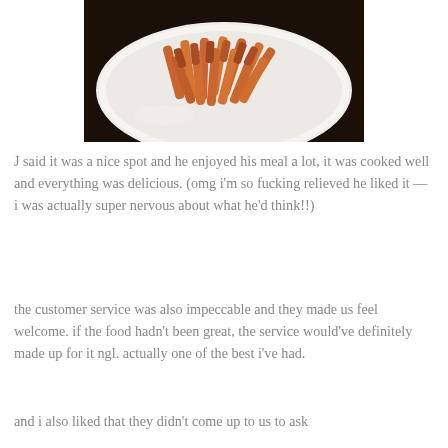[Figure (photo): A white plate with sweet potato fries on a dark table background, photographed from above.]
J said it was a nice spot and he enjoyed his meal a lot, it was cooked well and everything was delicious. (omg i'm so fucking relieved he liked it — i was actually super nervous about what he'd think!!)
the customer service was also impeccable and they made us feel welcome. if the food hadn't been great, the service would've definitely made up for it ngl. actually one of the best i've had.
and i also liked that they didn't come up to us to ask